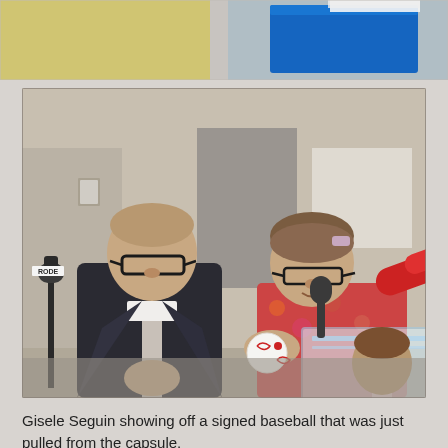[Figure (photo): Top strip showing partial view of two photos: left side shows a yellow/beige wall panel, right side shows a blue rectangular object against a white background.]
[Figure (photo): A woman wearing glasses and a colorful floral blouse stands at a clear acrylic podium holding up a signed baseball. A man in a dark suit and striped tie stands to her left. Microphones are visible at the podium. A person is partially visible in the background. The setting appears to be an indoor press conference or announcement event.]
Gisele Seguin showing off a signed baseball that was just pulled from the capsule.